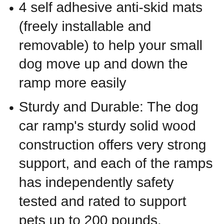4 self adhesive anti-skid mats (freely installable and removable) to help your small dog move up and down the ramp more easily
Sturdy and Durable: The dog car ramp's sturdy solid wood construction offers very strong support, and each of the ramps has independently safety tested and rated to support pets up to 200 pounds. Equipped with additional extended support feet to enhance the stability of the ramp and make it safer
6-Layer Adjustable Height: The dog ramp can be adjusted to 6 heights -13, 16, 18, 20, 22 and 24 inches, it helps your pets easily reach the car, bed or couch. The ramp is self-supporting and does not need to be placed on the